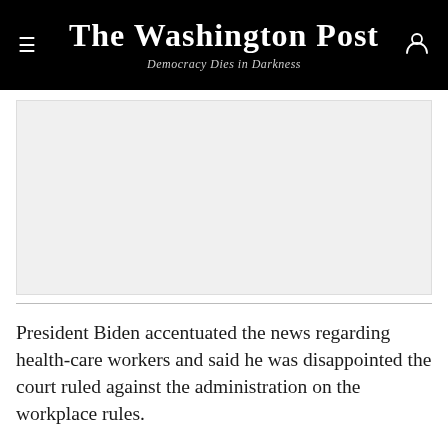The Washington Post — Democracy Dies in Darkness
[Figure (other): Advertisement placeholder area with light gray background]
President Biden accentuated the news regarding health-care workers and said he was disappointed the court ruled against the administration on the workplace rules.
“The Court has ruled that my administration cannot use the authority granted to it by Congress to require this